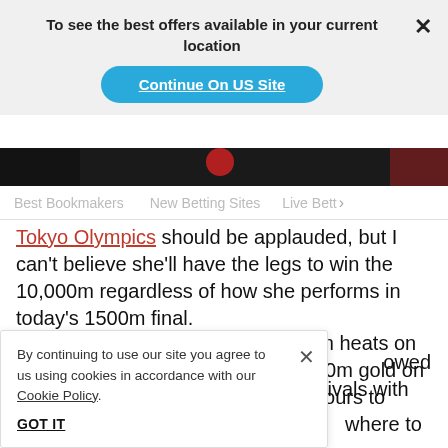To see the best offers available in your current location
Continue On US Site
Best Bookmakers   New Betting Sites   Live Bett >
Tokyo Olympics should be applauded, but I can't believe she'll have the legs to win the 10,000m regardless of how she performs in today's 1500m final.
Of course, Hassan fell in the 1500m heats on Monday morning before taking 5000m gold on Monday. She'll have less than 24 hours to recover from today before th... where to hide up a... sh and holds the w...
By continuing to use our site you agree to us using cookies in accordance with our Cookie Policy.
GOT IT
A... owed her inexperience by stretching her rivals with three laps to